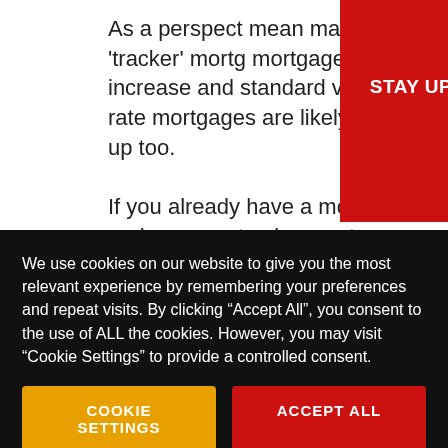As a perspective mean many m 'tracker' mortg mortgages wi increase and standard variable rate mortgages are likely to go up too. If you already have a mortgage and are on a tracker mortgage, you will definitely see an increase, it will depend on your lender when they make these
[Figure (infographic): Red banner overlay with white bold text reading 'STAY UP TO DATE WITH ALL T' on first line and 'NEWS!' below]
We use cookies on our website to give you the most relevant experience by remembering your preferences and repeat visits. By clicking “Accept All”, you consent to the use of ALL the cookies. However, you may visit "Cookie Settings" to provide a controlled consent.